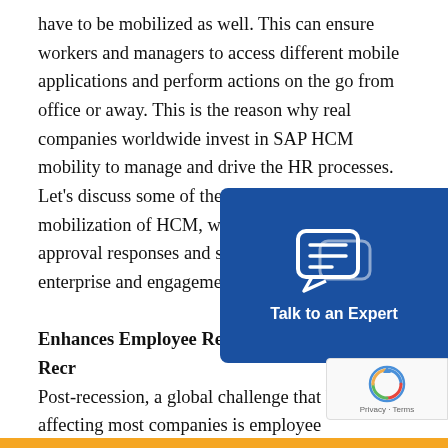have to be mobilized as well. This can ensure workers and managers to access different mobile applications and perform actions on the go from office or away. This is the reason why real companies worldwide invest in SAP HCM mobility to manage and drive the HR processes. Let's discuss some of the benefits due to mobilization of HCM, which can influence HR approval responses and subsequently the enterprise and engagement.
Enhances Employee Retention and Recruitment
Post-recession, a global challenge that has been affecting most companies is employee recruitment and turnover. As HR managers have to align with coworkers to accomplish business goals, instant communication, staying tuned and responding quickly to queries from employees have become a routine. An effective way to make this process seamless is by mobilizing the
[Figure (other): Blue 'Talk to an Expert' chat widget button overlay on the right side of the page, with a chat bubble icon]
[Figure (other): reCAPTCHA badge overlay in bottom right corner showing Google reCAPTCHA logo with Privacy and Terms text]